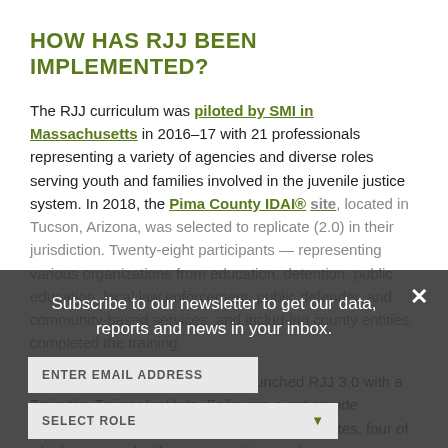HOW HAS RJJ BEEN IMPLEMENTED?
The RJJ curriculum was piloted by SMI in Massachusetts in 2016–17 with 21 professionals representing a variety of agencies and diverse roles serving youth and families involved in the juvenile justice system. In 2018, the Pima County IDAI® site, located in Tucson, Arizona, was selected to replicate (2.0) in their jurisdiction. Twenty-eight participants — representing various organizations from education, detention, public education, local law enforcement, public defender, and community-based services, and including county entities, completed the training.
Subscribe to our newsletter to get our data, reports and news in your inbox.
ENTER EMAIL ADDRESS
SELECT ROLE
SUBSCRIBE ›
...footprint, the Casey Foundation launched RJJ 3.0 with a Train-the-Trainer Institute. Following a nationwide competition, 15 sites were selected, eight states, four of which partnered with county entities, and